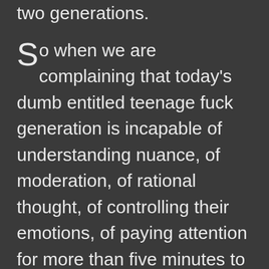two generations. So when we are complaining that today's dumb entitled teenage fuck generation is incapable of understanding nuance, of moderation, of rational thought, of controlling their emotions, of paying attention for more than five minutes to anything, of dialogue, of empathy... it's not their fault. We raised them like this. We educated them in the belief that they are owed things without any effort, that their feelings are valid and good and that it's OK to consider everybody else evil as long as they are different enough. That we must be inclusive with any culture, as long as it is also